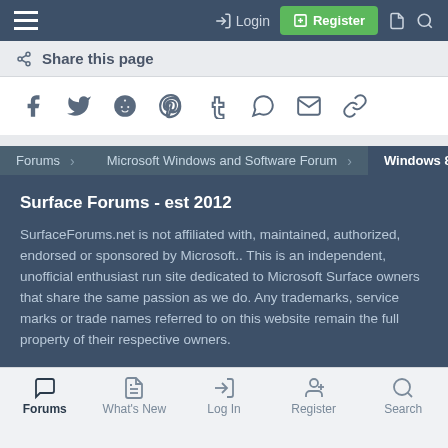Login  Register
Share this page
[Figure (illustration): Row of social media sharing icons: Facebook, Twitter, Reddit, Pinterest, Tumblr, WhatsApp, Email, Link]
Forums  Microsoft Windows and Software Forum  Windows 8 Forum
Surface Forums - est 2012
SurfaceForums.net is not affiliated with, maintained, authorized, endorsed or sponsored by Microsoft.. This is an independent, unofficial enthusiast run site dedicated to Microsoft Surface owners that share the same passion as we do. Any trademarks, service marks or trade names referred to on this website remain the full property of their respective owners.
Forums  What's New  Log In  Register  Search